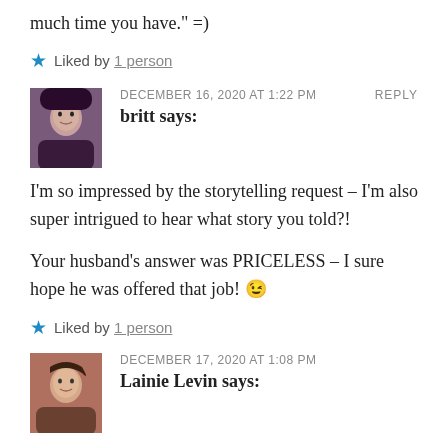much time you have." =)
★ Liked by 1 person
DECEMBER 16, 2020 AT 1:22 PM  REPLY
britt says:
I'm so impressed by the storytelling request – I'm also super intrigued to hear what story you told?!
Your husband's answer was PRICELESS – I sure hope he was offered that job! 😉
★ Liked by 1 person
DECEMBER 17, 2020 AT 1:08 PM
Lainie Levin says: